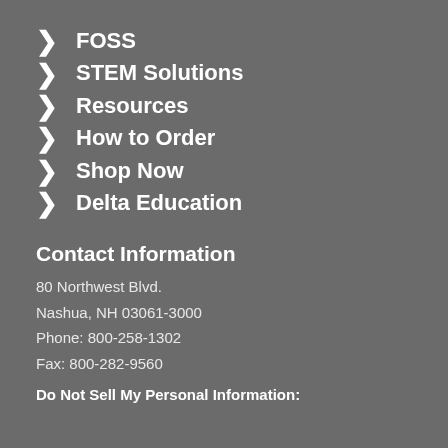FOSS
STEM Solutions
Resources
How to Order
Shop Now
Delta Education
Contact Information
80 Northwest Blvd.
Nashua, NH 03061-3000
Phone: 800-258-1302
Fax: 800-282-9560
Do Not Sell My Personal Information: